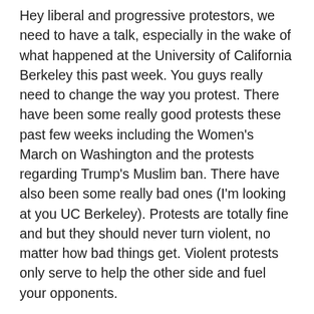Hey liberal and progressive protestors, we need to have a talk, especially in the wake of what happened at the University of California Berkeley this past week. You guys really need to change the way you protest. There have been some really good protests these past few weeks including the Women's March on Washington and the protests regarding Trump's Muslim ban. There have also been some really bad ones (I'm looking at you UC Berkeley). Protests are totally fine and but they should never turn violent, no matter how bad things get. Violent protests only serve to help the other side and fuel your opponents.
For those that missed it, Milo Yiannopoulos was supposed to speak at UC Berkeley last Wednesday as a part of his college tour promoting his ideology in the wake of Trump being elected. Yiannopoulos is one of the more well-known leaders of the alt-right (read neo-Nazi) movement and a senior editor at alt-right news hub Breitbart. He is also a very